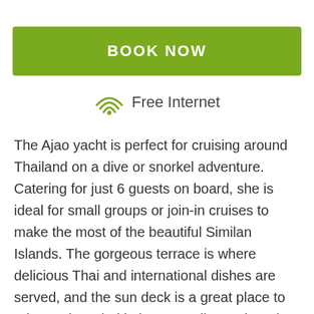BOOK NOW
Free Internet
The Ajao yacht is perfect for cruising around Thailand on a dive or snorkel adventure. Catering for just 6 guests on board, she is ideal for small groups or join-in cruises to make the most of the beautiful Similan Islands. The gorgeous terrace is where delicious Thai and international dishes are served, and the sun deck is a great place to relax and unwind in between dives. There is an indoor air-conditioned lounge with games and flatscreen TV. Cabins are spacious with ample storage space, flatscreen TV, comfortable double or twin beds and